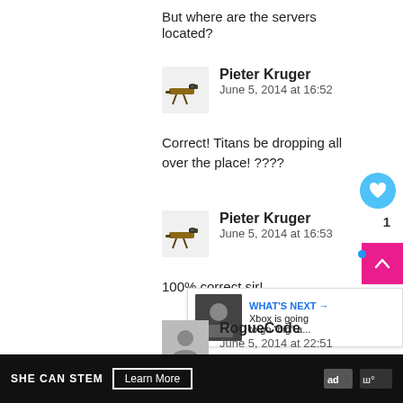But where are the servers located?
Pieter Kruger
June 5, 2014 at 16:52
Correct! Titans be dropping all over the place! ????
Pieter Kruger
June 5, 2014 at 16:53
100% correct sir!
RogueCode
June 5, 2014 at 22:51
WHAT'S NEXT → Xbox is going to go "big" a...
SHE CAN STEM Learn More